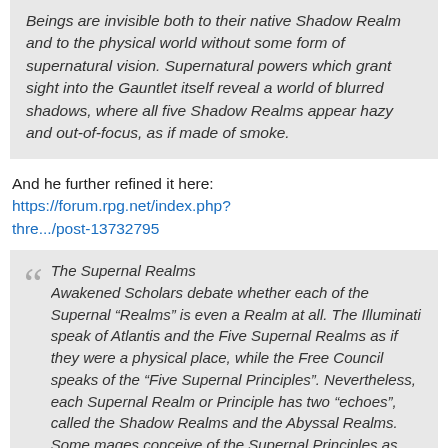Beings are invisible both to their native Shadow Realm and to the physical world without some form of supernatural vision. Supernatural powers which grant sight into the Gauntlet itself reveal a world of blurred shadows, where all five Shadow Realms appear hazy and out-of-focus, as if made of smoke.
And he further refined it here: https://forum.rpg.net/index.php?thre.../post-13732795
The Supernal Realms
Awakened Scholars debate whether each of the Supernal “Realms” is even a Realm at all. The Illuminati speak of Atlantis and the Five Supernal Realms as if they were a physical place, while the Free Council speaks of the “Five Supernal Principles”. Nevertheless, each Supernal Realm or Principle has two “echoes”, called the Shadow Realms and the Abyssal Realms. Some mages conceive of the Supernal Principles as lights shining down on the Fallen World, with the Shadow Realms being the shadowy “outlines” of the Fallen World cast by each light, and the Abyssal Realms being the darkness where the Fallen World blocks all Supernal light. Each of the Shadow Realms may be reached through their respective Supernal Arcana. Reaching the Abyssal